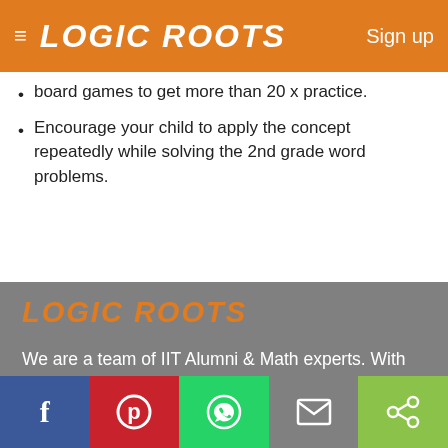LOGIC ROOTS   Sign up
board games to get more than 20 x practice.
Encourage your child to apply the concept repeatedly while solving the 2nd grade word problems.
LOGIC ROOTS
We are a team of IIT Alumni & Math experts. With full dedication we are Reinventing How Kids Practice Math. Our products provide more practice in the same time. Wrapped in addictive fun games we deliver fun ways to win over Math.
INFO